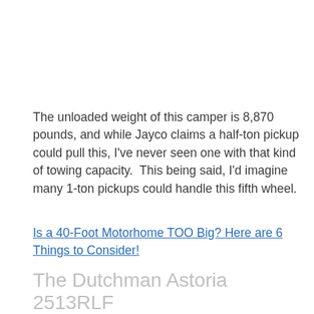The unloaded weight of this camper is 8,870 pounds, and while Jayco claims a half-ton pickup could pull this, I've never seen one with that kind of towing capacity.  This being said, I'd imagine many 1-ton pickups could handle this fifth wheel.
Is a 40-Foot Motorhome TOO Big? Here are 6 Things to Consider!
The Dutchman Astoria 2513RLF